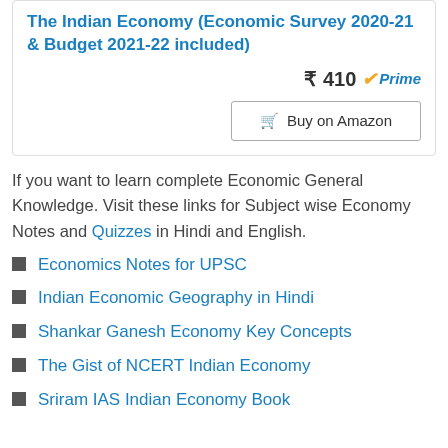The Indian Economy (Economic Survey 2020-21 & Budget 2021-22 included)
₹ 410 ✓Prime
🛒 Buy on Amazon
If you want to learn complete Economic General Knowledge. Visit these links for Subject wise Economy Notes and Quizzes in Hindi and English.
Economics Notes for UPSC
Indian Economic Geography in Hindi
Shankar Ganesh Economy Key Concepts
The Gist of NCERT Indian Economy
Sriram IAS Indian Economy Book